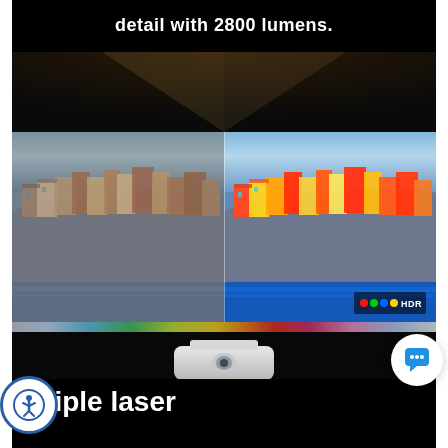detail with 2800 lumens.
[Figure (photo): Split comparison photo of a colorful Italian coastal village (Manarola/Cinque Terre) on a cliff side. Left half shows standard color rendering, right half shows enhanced HDR color rendering with more vivid saturation. An HDR logo badge appears in the bottom right of the image. Below the split photo, a projector device is shown projecting a rainbow spectrum of light onto a screen, against a dark background with V-shaped beam lighting at the top.]
Triple laser